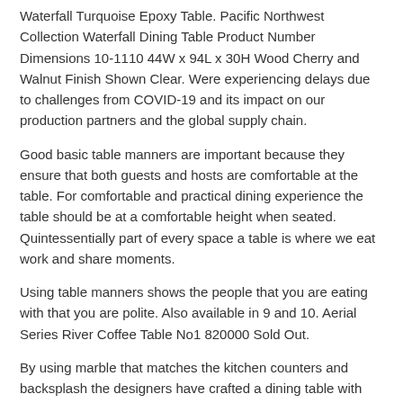Waterfall Turquoise Epoxy Table. Pacific Northwest Collection Waterfall Dining Table Product Number Dimensions 10-1110 44W x 94L x 30H Wood Cherry and Walnut Finish Shown Clear. Were experiencing delays due to challenges from COVID-19 and its impact on our production partners and the global supply chain.
Good basic table manners are important because they ensure that both guests and hosts are comfortable at the table. For comfortable and practical dining experience the table should be at a comfortable height when seated. Quintessentially part of every space a table is where we eat work and share moments.
Using table manners shows the people that you are eating with that you are polite. Also available in 9 and 10. Aerial Series River Coffee Table No1 820000 Sold Out.
By using marble that matches the kitchen counters and backsplash the designers have crafted a dining table with waterfall edges. The gorgeous waterfall style has its roots in economy. The Waterfall tables simple structure acts as a natural showcase for grain patterns and is designed to complement any space and inspire connection.